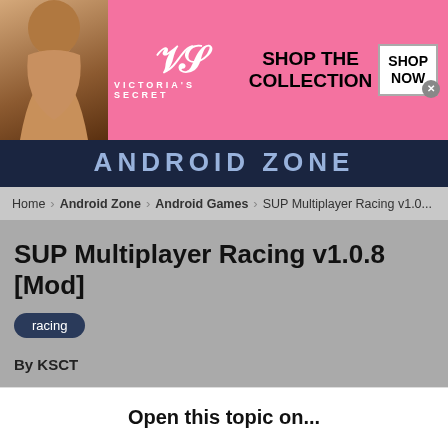[Figure (photo): Victoria's Secret advertisement banner with model, logo, 'SHOP THE COLLECTION' text, and 'SHOP NOW' button]
ANDROID ZONE
Home > Android Zone > Android Games > SUP Multiplayer Racing v1.0...
SUP Multiplayer Racing v1.0.8 [Mod]
racing
By KSCT
Open this topic on...
[Figure (screenshot): App icon (orange) and button placeholder on bottom row]
[Figure (other): Bottom advertisement: Dickies Official Site - Workwear & Apparel]